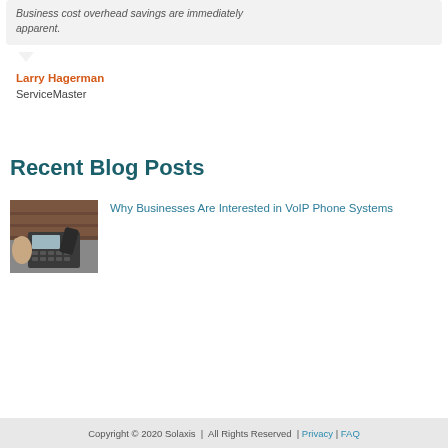Business cost overhead savings are immediately apparent.
Larry Hagerman
ServiceMaster
Recent Blog Posts
[Figure (photo): Photo of a person using a VoIP office desk phone]
Why Businesses Are Interested in VoIP Phone Systems
Copyright © 2020 Solaxis | All Rights Reserved | Privacy | FAQ